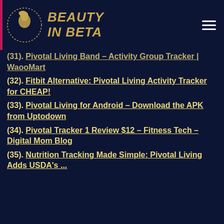BEAUTY IN BETA
(31). Pivotal Living Band – Activity Group Tracker | WaooMart
(32). Fitbit Alternative: Pivotal Living Activity Tracker for CHEAP!
(33). Pivotal Living for Android – Download the APK from Uptodown
(34). Pivotal Tracker 1 Review $12 – Fitness Tech – Digital Mom Blog
(35). Nutrition Tracking Made Simple: Pivotal Living Adds USDA's ...